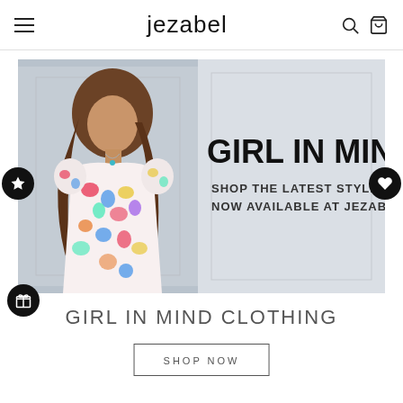jezabel
[Figure (photo): Fashion promotional banner showing a young woman wearing a colorful floral puff-sleeve dress, with text overlay reading 'GIRL IN MIND - SHOP THE LATEST STYLES NOW AVAILABLE AT JEZABEL']
GIRL IN MIND CLOTHING
SHOP NOW